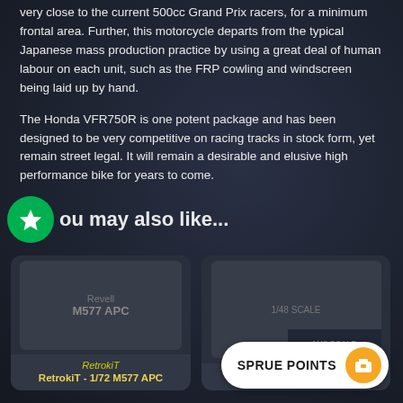very close to the current 500cc Grand Prix racers, for a minimum frontal area. Further, this motorcycle departs from the typical Japanese mass production practice by using a great deal of human labour on each unit, such as the FRP cowling and windscreen being laid up by hand.
The Honda VFR750R is one potent package and has been designed to be very competitive on racing tracks in stock form, yet remain street legal. It will remain a desirable and elusive high performance bike for years to come.
You may also like...
[Figure (photo): Card thumbnail for RetrokiT - 1/72 M577 APC model kit showing product box art in dark tones]
RetrokiT
RetrokiT - 1/72 M577 APC
[Figure (photo): Card thumbnail for Parangas 1/48 scale model showing product box art]
Parangas